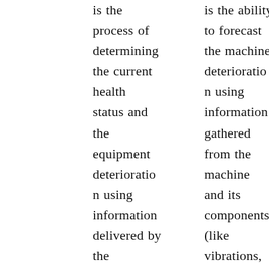is the process of determining the current health status and the equipment deterioration using information delivered by the condition-monitoring system.
is the ability to forecast the machine deterioration using information gathered from the machine and its components (like vibrations, change in temperature, change in